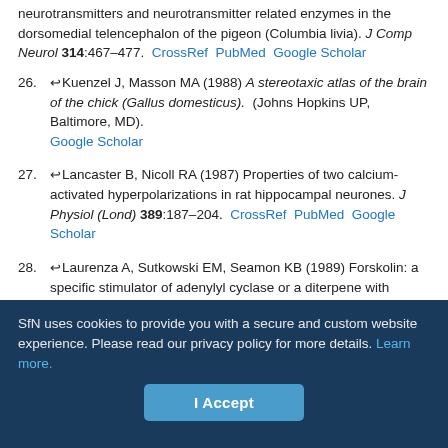neurotransmitters and neurotransmitter related enzymes in the dorsomedial telencephalon of the pigeon (Columbia livia). J Comp Neurol 314:467–477. CrossRef PubMed Google Scholar
26. ↩Kuenzel J, Masson MA (1988) A stereotaxic atlas of the brain of the chick (Gallus domesticus). (Johns Hopkins UP, Baltimore, MD). Google Scholar
27. ↩Lancaster B, Nicoll RA (1987) Properties of two calcium-activated hyperpolarizations in rat hippocampal neurones. J Physiol (Lond) 389:187–204. CrossRef PubMed Google Scholar
28. ↩Laurenza A, Sutkowski EM, Seamon KB (1989) Forskolin: a specific stimulator of adenylyl cyclase or a diterpene with multiple sites of action? Trends Pharmacol 10:442–447. CrossRef PubMed Google Scholar
29. ↩Lynch G, Larson J, Kelso S, Barrionuevo G, Schottler F (1983)
SfN uses cookies to provide you with a secure and custom website experience. Please read our privacy policy for more details. Learn more.